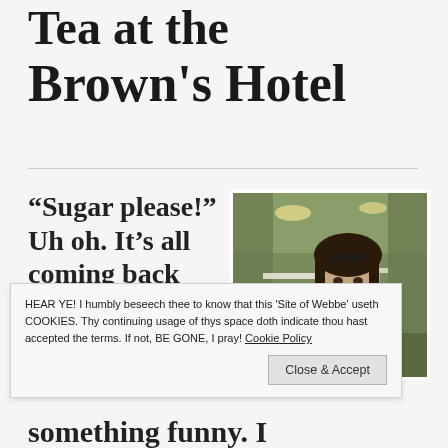Tea at the Brown's Hotel
“Sugar please!” Uh oh. It’s all coming back…
[Figure (photo): A woman smiling, seated at a table in an elegant hotel dining room with chandeliers and floral decorations in the background.]
HEAR YE! I humbly beseech thee to know that this 'Site of Webbe' useth COOKIES. Thy continuing usage of thys space doth indicate thou hast accepted the terms. If not, BE GONE, I pray! Cookie Policy
something funny. I